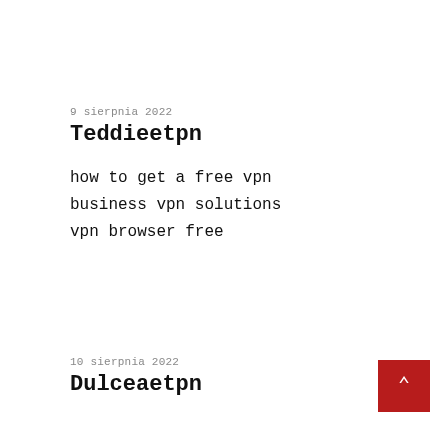9 sierpnia 2022
Teddieetpn
how to get a free vpn
business vpn solutions
vpn browser free
10 sierpnia 2022
Dulceaetpn